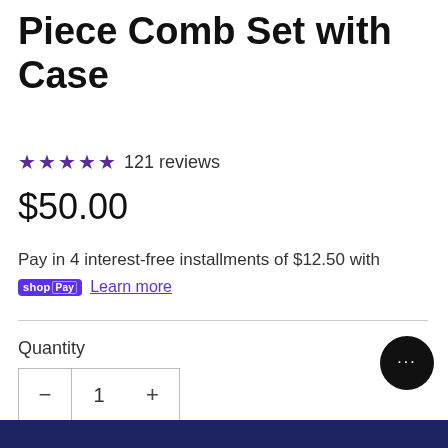Piece Comb Set with Case
★★★★★ 121 reviews
$50.00
Pay in 4 interest-free installments of $12.50 with shopPay Learn more
Quantity
— 1 +